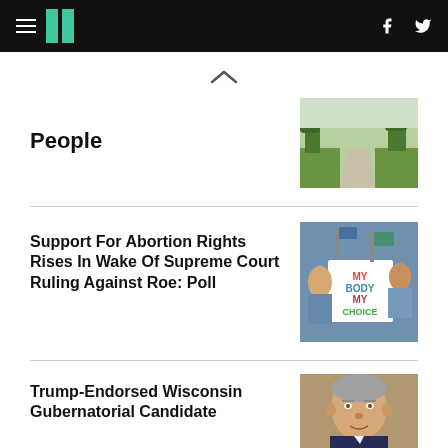HuffPost navigation with hamburger menu, logo, Facebook and Twitter icons
People
[Figure (photo): Pathway through a green lawn with trees in the background]
Support For Abortion Rights Rises In Wake Of Supreme Court Ruling Against Roe: Poll
[Figure (photo): Protest crowd holding a sign that reads MY BODY MY CHOICE]
Trump-Endorsed Wisconsin Gubernatorial Candidate
[Figure (photo): Headshot of a middle-aged man with grey hair]